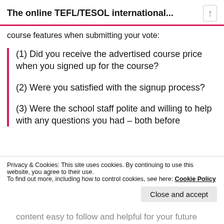The online TEFL/TESOL international...
course features when submitting your vote:
(1) Did you receive the advertised course price when you signed up for the course?
(2) Were you satisfied with the signup process?
(3) Were the school staff polite and willing to help with any questions you had – both before
Privacy & Cookies: This site uses cookies. By continuing to use this website, you agree to their use.
To find out more, including how to control cookies, see here: Cookie Policy
Close and accept
content easy to follow and helpful for your future